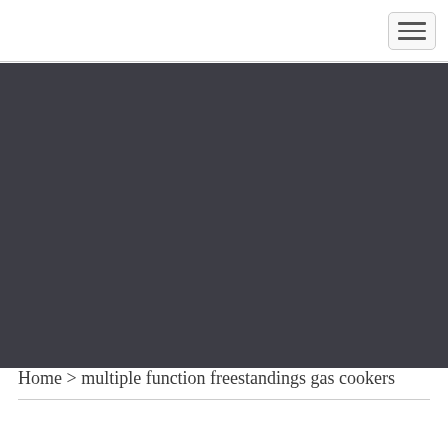[Figure (other): Navigation header bar with hamburger menu button in top right corner]
[Figure (photo): Large dark gray rectangular image/banner area]
Home > multiple function freestandings gas cookers